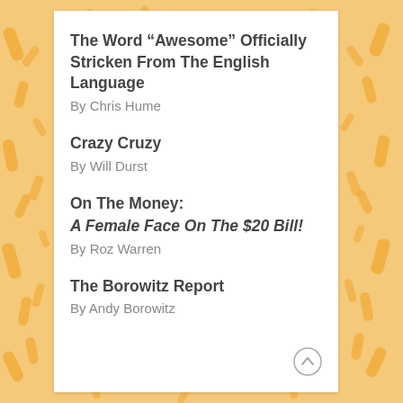The Word “Awesome” Officially Stricken From The English Language
By Chris Hume
Crazy Cruzy
By Will Durst
On The Money:
A Female Face On The $20 Bill!
By Roz Warren
The Borowitz Report
By Andy Borowitz